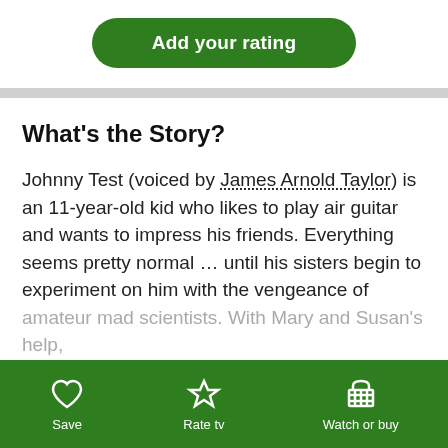Add your rating
What's the Story?
Johnny Test (voiced by James Arnold Taylor) is an 11-year-old kid who likes to play air guitar and wants to impress his friends. Everything seems pretty normal … until his sisters begin to experiment on him with the vengeance of amateur mad scientists. With Mary and Susan's help,
Show more ∨
Save   Rate tv   Watch or buy